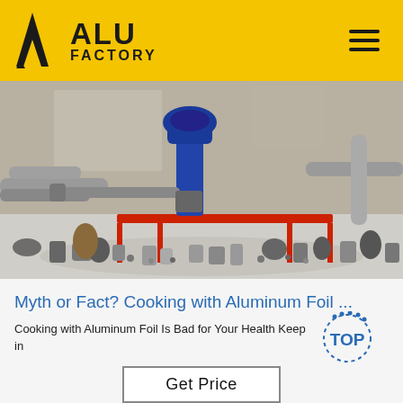ALU FACTORY
[Figure (photo): Industrial aluminum factory floor with a cutting/drilling machine on a red metal workbench, surrounded by aluminum pipes, fittings, and metal parts scattered on the floor, concrete walls in background]
Myth or Fact? Cooking with Aluminum Foil ...
Cooking with Aluminum Foil Is Bad for Your Health Keep in
Get Price